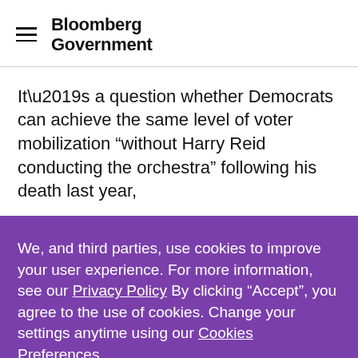Bloomberg Government
It’s a question whether Democrats can achieve the same level of voter mobilization “without Harry Reid conducting the orchestra” following his death last year,
We, and third parties, use cookies to improve your user experience. For more information, see our Privacy Policy By clicking “Accept”, you agree to the use of cookies. Change your settings anytime using our Cookies Preferences.
MANAGE PREFERENCES
ACCEPT